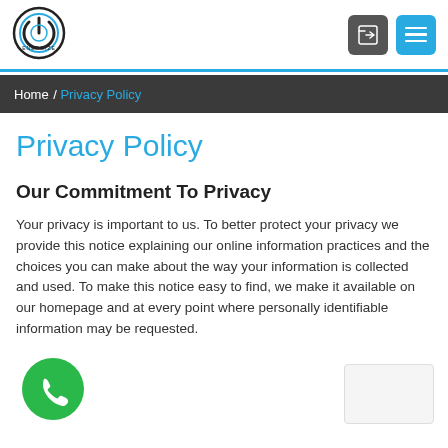[Figure (logo): Energize logo: circular icon with power symbol]
Home / Privacy Policy
Privacy Policy
Our Commitment To Privacy
Your privacy is important to us. To better protect your privacy we provide this notice explaining our online information practices and the choices you can make about the way your information is collected and used. To make this notice easy to find, we make it available on our homepage and at every point where personally identifiable information may be requested.